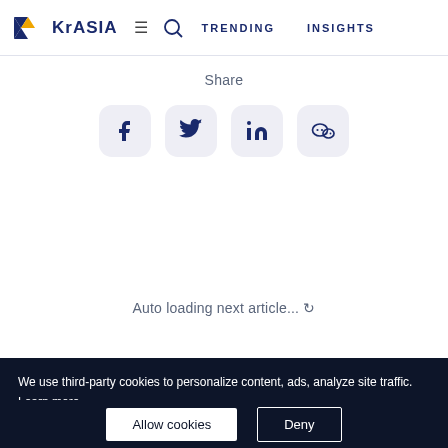KrASIA  TRENDING  INSIGHTS
Share
[Figure (screenshot): Social share buttons: Facebook, Twitter, LinkedIn, WeChat]
Auto loading next article... ↺
We use third-party cookies to personalize content, ads, analyze site traffic. Learn more
Allow cookies   Deny